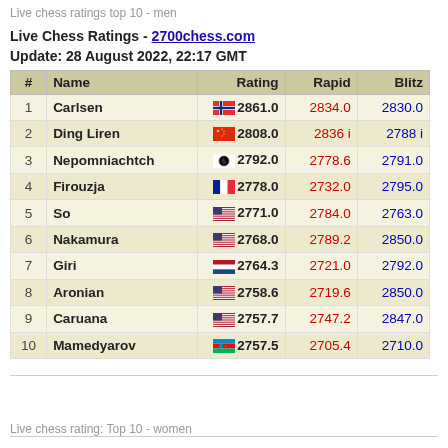Live chess ratings top 10 - men
Live Chess Ratings - 2700chess.com
Update: 28 August 2022, 22:17 GMT
| # | Name | Rating | Rapid | Blitz |
| --- | --- | --- | --- | --- |
| 1 | Carlsen | 2861.0 | 2834.0 | 2830.0 |
| 2 | Ding Liren | 2808.0 | 2836 i | 2788 i |
| 3 | Nepomniachtch | 2792.0 | 2778.6 | 2791.0 |
| 4 | Firouzja | 2778.0 | 2732.0 | 2795.0 |
| 5 | So | 2771.0 | 2784.0 | 2763.0 |
| 6 | Nakamura | 2768.0 | 2789.2 | 2850.0 |
| 7 | Giri | 2764.3 | 2721.0 | 2792.0 |
| 8 | Aronian | 2758.6 | 2719.6 | 2850.0 |
| 9 | Caruana | 2757.7 | 2747.2 | 2847.0 |
| 10 | Mamedyarov | 2757.5 | 2705.4 | 2710.0 |
Live chess rating: Top 10 - women